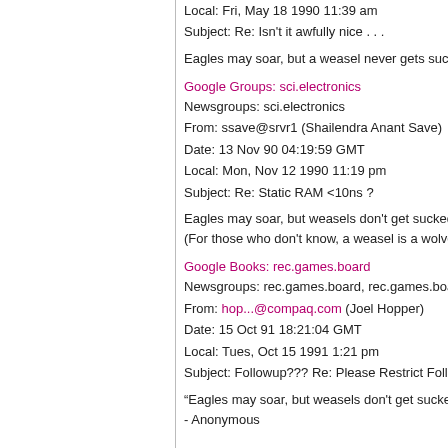Local: Fri, May 18 1990 11:39 am
Subject: Re: Isn't it awfully nice . . .
Eagles may soar, but a weasel never gets sucked
Google Groups: sci.electronics
Newsgroups: sci.electronics
From: ssave@srvr1 (Shailendra Anant Save)
Date: 13 Nov 90 04:19:59 GMT
Local: Mon, Nov 12 1990 11:19 pm
Subject: Re: Static RAM <10ns ?
Eagles may soar, but weasels don't get sucked int
(For those who don't know, a weasel is a wolverine
Google Books: rec.games.board
Newsgroups: rec.games.board, rec.games.board.c
From: hop...@compaq.com (Joel Hopper)
Date: 15 Oct 91 18:21:04 GMT
Local: Tues, Oct 15 1991 1:21 pm
Subject: Followup??? Re: Please Restrict Follow-u
“Eagles may soar, but weasels don't get sucked in
- Anonymous